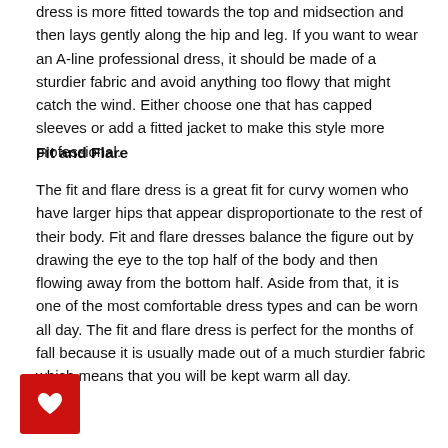dress is more fitted towards the top and midsection and then lays gently along the hip and leg. If you want to wear an A-line professional dress, it should be made of a sturdier fabric and avoid anything too flowy that might catch the wind. Either choose one that has capped sleeves or add a fitted jacket to make this style more professional.
Fit and Flare
The fit and flare dress is a great fit for curvy women who have larger hips that appear disproportionate to the rest of their body. Fit and flare dresses balance the figure out by drawing the eye to the top half of the body and then flowing away from the bottom half. Aside from that, it is one of the most comfortable dress types and can be worn all day. The fit and flare dress is perfect for the months of fall because it is usually made out of a much sturdier fabric which means that you will be kept warm all day.
[Figure (other): Red square button with a white heart icon]